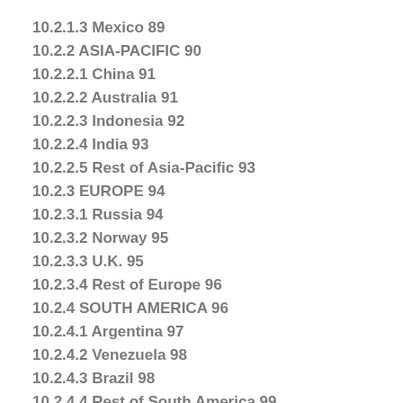10.2.1.3 Mexico 89
10.2.2 ASIA-PACIFIC 90
10.2.2.1 China 91
10.2.2.2 Australia 91
10.2.2.3 Indonesia 92
10.2.2.4 India 93
10.2.2.5 Rest of Asia-Pacific 93
10.2.3 EUROPE 94
10.2.3.1 Russia 94
10.2.3.2 Norway 95
10.2.3.3 U.K. 95
10.2.3.4 Rest of Europe 96
10.2.4 SOUTH AMERICA 96
10.2.4.1 Argentina 97
10.2.4.2 Venezuela 98
10.2.4.3 Brazil 98
10.2.4.4 Rest of South America 99
10.2.5 AFRICA 99
10.2.5.1 Angola 100